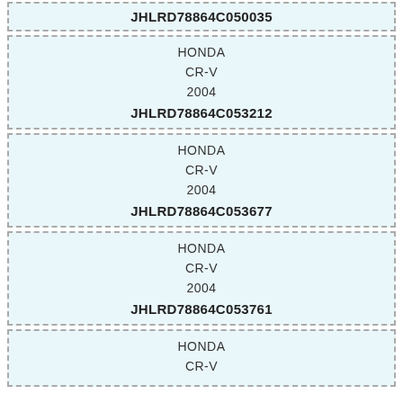| JHLRD78864C050035 |
| HONDA |
| CR-V |
| 2004 |
| JHLRD78864C053212 |
| HONDA |
| CR-V |
| 2004 |
| JHLRD78864C053677 |
| HONDA |
| CR-V |
| 2004 |
| JHLRD78864C053761 |
| HONDA |
| CR-V |